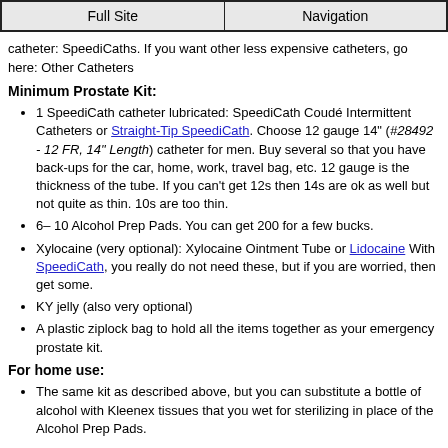Full Site | Navigation
catheter: SpeediCaths. If you want other less expensive catheters, go here: Other Catheters
Minimum Prostate Kit:
1 SpeediCath catheter lubricated: SpeediCath Coudé Intermittent Catheters or Straight-Tip SpeediCath. Choose 12 gauge 14" (#28492 - 12 FR, 14" Length) catheter for men. Buy several so that you have back-ups for the car, home, work, travel bag, etc. 12 gauge is the thickness of the tube. If you can't get 12s then 14s are ok as well but not quite as thin. 10s are too thin.
6– 10 Alcohol Prep Pads. You can get 200 for a few bucks.
Xylocaine (very optional): Xylocaine Ointment Tube or Lidocaine With SpeediCath, you really do not need these, but if you are worried, then get some.
KY jelly (also very optional)
A plastic ziplock bag to hold all the items together as your emergency prostate kit.
For home use:
The same kit as described above, but you can substitute a bottle of alcohol with Kleenex tissues that you wet for sterilizing in place of the Alcohol Prep Pads.